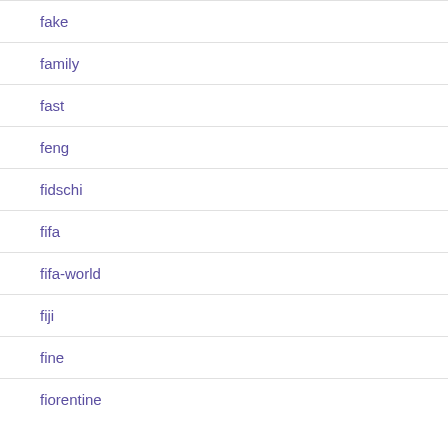fake
family
fast
feng
fidschi
fifa
fifa-world
fiji
fine
fiorentine